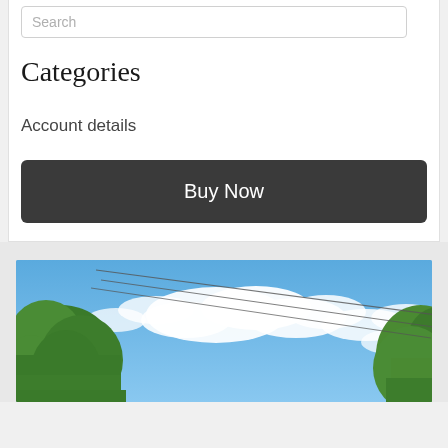Search
Categories
Account details
Buy Now
[Figure (photo): Outdoor photo looking up at blue sky with white clouds, green leafy trees on left and right sides, and utility power lines crossing diagonally across the sky.]